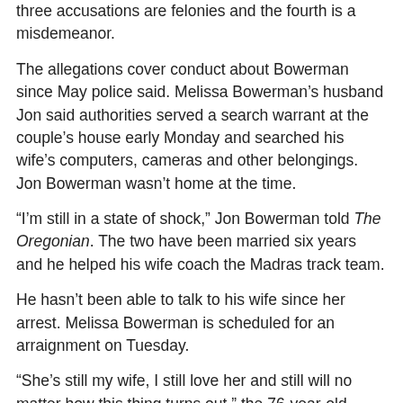three accusations are felonies and the fourth is a misdemeanor.
The allegations cover conduct about Bowerman since May police said. Melissa Bowerman's husband Jon said authorities served a search warrant at the couple's house early Monday and searched his wife's computers, cameras and other belongings. Jon Bowerman wasn't home at the time.
“I’m still in a state of shock,” Jon Bowerman told The Oregonian. The two have been married six years and he helped his wife coach the Madras track team.
He hasn’t been able to talk to his wife since her arrest. Melissa Bowerman is scheduled for an arraignment on Tuesday.
“She’s still my wife, I still love her and still will no matter how this thing turns out,” the 76-year-old stated after Melissa Bowerman was arrested.
In May 2013, Bowerman, whose late father-in-law invented